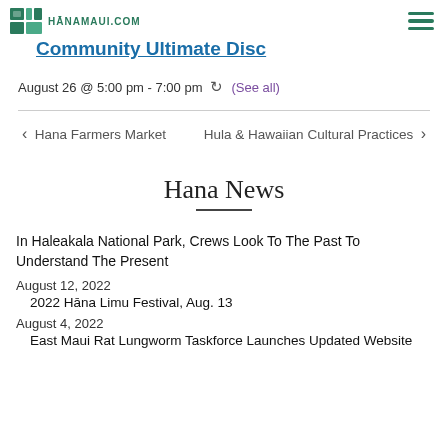HĀNAMAUI.COM
Community Ultimate Disc
August 26 @ 5:00 pm - 7:00 pm  (See all)
< Hana Farmers Market   Hula & Hawaiian Cultural Practices >
Hana News
In Haleakala National Park, Crews Look To The Past To Understand The Present
August 12, 2022
2022 Hāna Limu Festival, Aug. 13
August 4, 2022
East Maui Rat Lungworm Taskforce Launches Updated Website